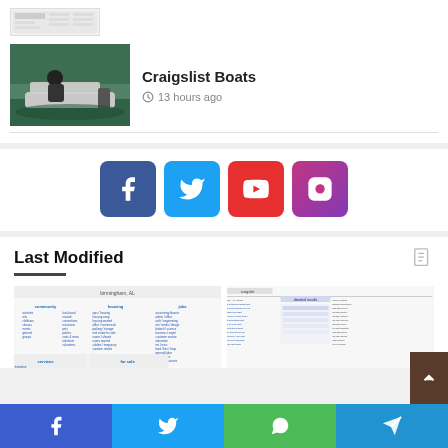[Figure (screenshot): Small thumbnail screenshot at top of page]
Craigslist Boats
13 hours ago
[Figure (photo): Photo of a person in a small boat on water]
[Figure (other): Social media buttons: Facebook, Twitter, YouTube, Instagram]
Last Modified
[Figure (screenshot): Screenshot of Craigslist Birmingham AL homepage]
[Figure (screenshot): Screenshot of Craigslist page with listings]
[Figure (other): Bottom social share bar: Facebook, Twitter, WhatsApp, Telegram]